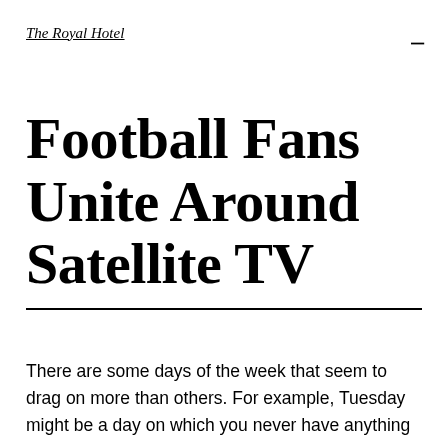The Royal Hotel
Football Fans Unite Around Satellite TV
There are some days of the week that seem to drag on more than others. For example, Tuesday might be a day on which you never have anything